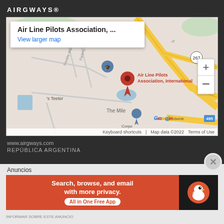AIRGWAYS®
[Figure (map): Google Maps embed showing Air Line Pilots Association, International location with red pin marker, street map view with roads, zoom controls, and map popup.]
www.airgways.com
REPÚBLICA ARGENTINA
Anuncios
[Figure (other): DuckDuckGo advertisement banner: 'Search, browse, and email with more privacy. All in One Free App' on orange background with DuckDuckGo logo on dark background.]